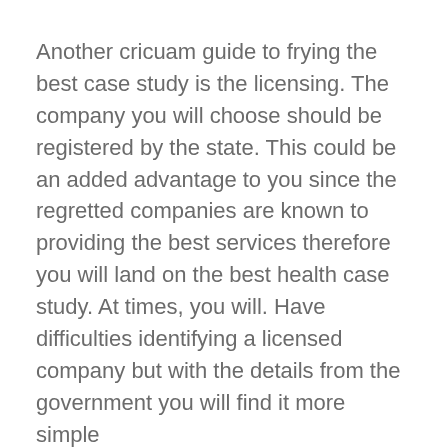Another cricuam guide to frying the best case study is the licensing. The company you will choose should be registered by the state. This could be an added advantage to you since the regretted companies are known to providing the best services therefore you will land on the best health case study. At times, you will. Have difficulties identifying a licensed company but with the details from the government you will find it more simple
Lastly you. Need to consider the reputation of the company that you will choose. The company should have a perfect reputation. This way you will. Have an assurance of the company is the best. Thud you will get the kind of health case study you are looking forward to. Such companies will. Be able to gather